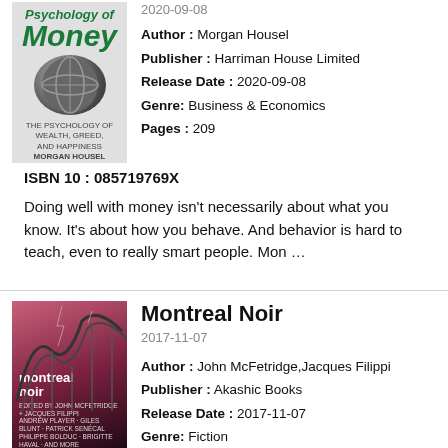[Figure (illustration): Book cover of 'The Psychology of Money' by Morgan Housel, grey/green tones with circular brain/globe graphic]
2020-09-08
Author : Morgan Housel
Publisher : Harriman House Limited
Release Date : 2020-09-08
Genre: Business & Economics
Pages : 209
ISBN 10 : 085719769X
Doing well with money isn't necessarily about what you know. It's about how you behave. And behavior is hard to teach, even to really smart people. Mon …
[Figure (illustration): Book cover of 'Montreal Noir' with dark pink/red roller coaster and night sky]
Montreal Noir
2017-11-07
Author : John McFetridge,Jacques Filippi
Publisher : Akashic Books
Release Date : 2017-11-07
Genre: Fiction